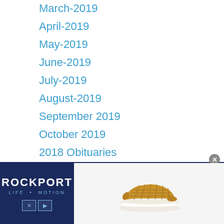March-2019
April-2019
May-2019
June-2019
July-2019
August-2019
September 2019
October 2019
2018 Obituaries
Recent obituary
[Figure (photo): Rockport Life in Motion advertisement banner with shoe image]